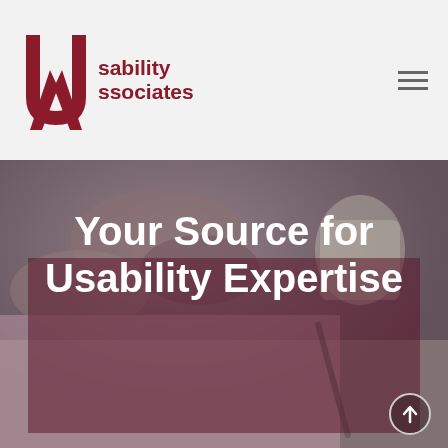[Figure (logo): Usability Associates logo with stylized UA monogram in dark red and company name text]
[Figure (photo): Hero banner photo showing hands working on papers/prototypes on a desk, with dark pink/maroon semi-transparent overlay panel]
Your Source for Usability Expertise